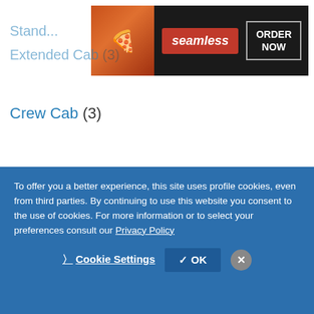[Figure (screenshot): Seamless food delivery advertisement banner showing pizza image, Seamless logo in red, and ORDER NOW button on dark background]
Standard Cab (partially visible, cut off)
Extended Cab (3) (partially visible)
Crew Cab (3)
Trucks by Transmission Speed
6 (387)
5 (103)
10 (38)
8 (17) (partially visible, cut off)
To offer you a better experience, this site uses profile cookies, even from third parties. By continuing to use this website you consent to the use of cookies. For more information or to select your preferences consult our Privacy Policy